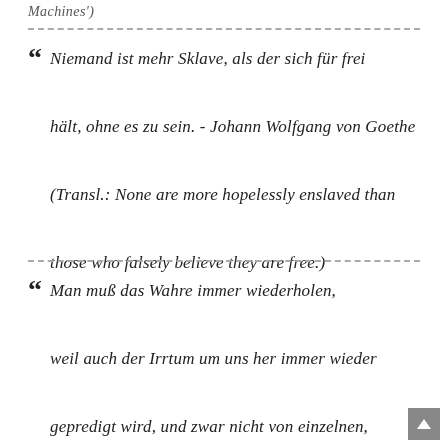Machines')
Niemand ist mehr Sklave, als der sich für frei hält, ohne es zu sein. - Johann Wolfgang von Goethe (Transl.: None are more hopelessly enslaved than those who falsely believe they are free.)
Man muß das Wahre immer wiederholen, weil auch der Irrtum um uns her immer wieder gepredigt wird, und zwar nicht von einzelnen,